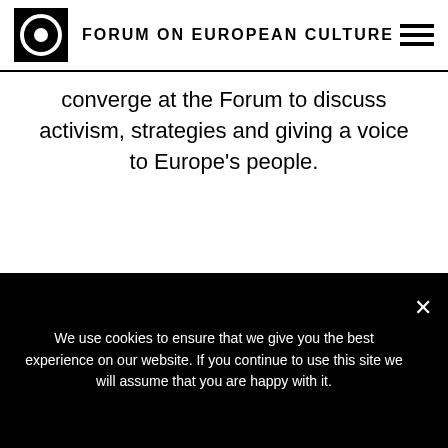FORUM ON EUROPEAN CULTURE
converge at the Forum to discuss activism, strategies and giving a voice to Europe’s people.
SOLD OUT
[Figure (photo): Dark teal background with green neon text 'ON EU' oriented vertically/diagonally, and a vertical green neon line]
We use cookies to ensure that we give you the best experience on our website. If you continue to use this site we will assume that you are happy with it.